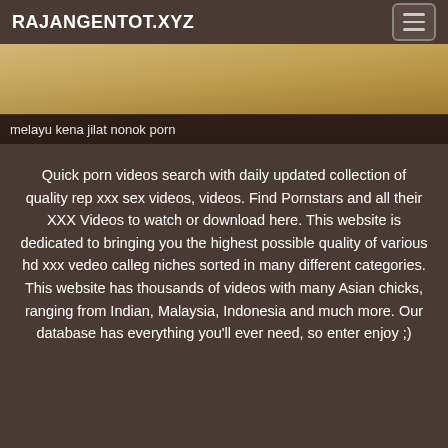RAJANGENTOT.XYZ
[Figure (photo): Partial image showing food or drink items with warm tones, overlaid with a dark strip at the bottom containing text.]
melayu kena jilat nonok porn
Quick porn videos search with daily updated collection of quality rep xxx sex videos, videos. Find Pornstars and all their XXX Videos to watch or download here. This website is dedicated to bringing you the highest possible quality of various hd xxx vedeo calleg niches sorted in many different categories. This website has thousands of videos with many Asian chicks, ranging from Indian, Malaysia, Indonesia and much more. Our database has everything you'll ever need, so enter enjoy ;)